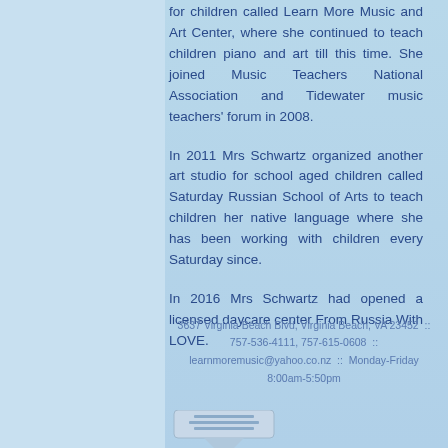for children called Learn More Music and Art Center, where she continued to teach children piano and art till this time. She joined Music Teachers National Association and Tidewater music teachers' forum in 2008.
In 2011 Mrs Schwartz organized another art studio for school aged children called Saturday Russian School of Arts to teach children her native language where she has been working with children every Saturday since.
In 2016 Mrs Schwartz had opened a licensed daycare center From Russia With LOVE.
3637 Virginia Beach Blvd, Virginia Beach, VA 23452  ::  757-536-4111, 757-615-0608  ::  learnmoremusic@yahoo.co.nz  ::  Monday-Friday 8:00am-5:50pm